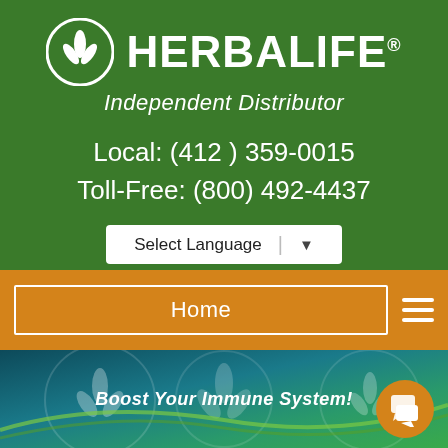[Figure (logo): Herbalife logo with leaf emblem in white circle and HERBALIFE wordmark]
Independent Distributor
Local: (412 ) 359-0015
Toll-Free: (800) 492-4437
Select Language ▼
Home
[Figure (illustration): Herbalife promotional banner with teal/green background and leaf graphics saying Boost Your Immune System!]
Boost Your Immune System!